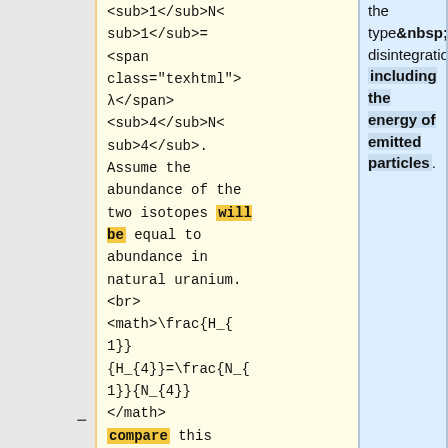<sub>1</sub>N<sub>1</sub>= <span class="texhtml">λ</span><sub>4</sub>N<sub>4</sub>. Assume the abundance of the two isotopes will be equal to abundance in natural uranium. <br> <math>\frac{H_{1}}{H_{4}}=\frac{N_{1}}{N_{4}}</math> compare this with <math>\frac{T_{1/2}(1)}{T_{1/2}
the type of disintegration, including the energy of emitted particles.